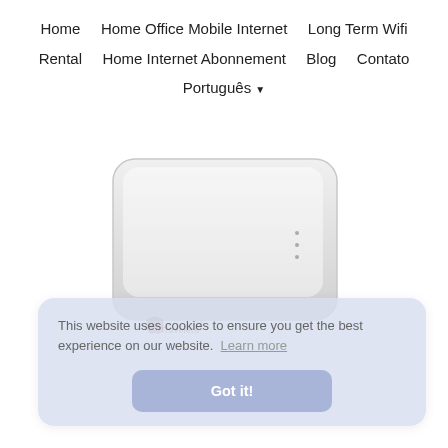Home | Home Office Mobile Internet | Long Term Wifi Rental | Home Internet Abonnement | Blog | Contato | Português
[Figure (photo): White mobile WiFi router/hotspot device shown from above, with a Travelers Wifi logo partially visible at the bottom]
This website uses cookies to ensure you get the best experience on our website. Learn more
Got it!